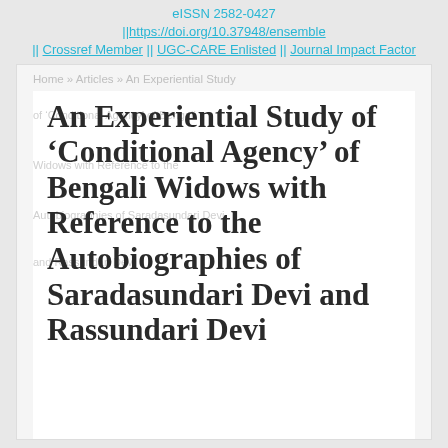eISSN 2582-0427 || https://doi.org/10.37948/ensemble || Crossref Member || UGC-CARE Enlisted || Journal Impact Factor
Home » Articles » An Experiential Study of 'Conditional Agency' of Bengali Widows with Reference to the Autobiographies of Saradasundari Devi and Rassundari Devi
An Experiential Study of 'Conditional Agency' of Bengali Widows with Reference to the Autobiographies of Saradasundari Devi and Rassundari Devi